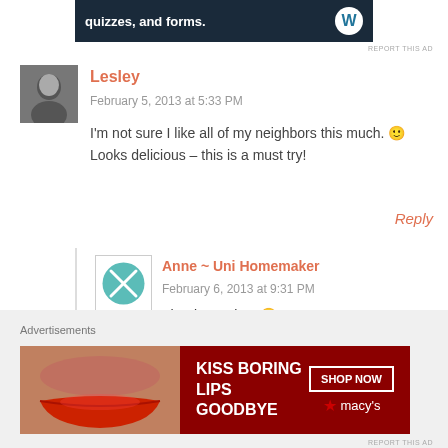[Figure (screenshot): Top dark banner ad: 'quizzes, and forms.' with WordPress logo]
REPORT THIS AD
Lesley
February 5, 2013 at 5:33 PM
I'm not sure I like all of my neighbors this much. 🙂 Looks delicious – this is a must try!
Reply
[Figure (logo): Anne ~ Uni Homemaker avatar: teal circle with crossed fork and spoon]
Anne ~ Uni Homemaker
February 6, 2013 at 9:31 PM
Thanks Lesley! 🙂
Advertisements
[Figure (photo): Macy's lipstick ad: 'KISS BORING LIPS GOODBYE' with lips photo, SHOP NOW button, Macy's star logo]